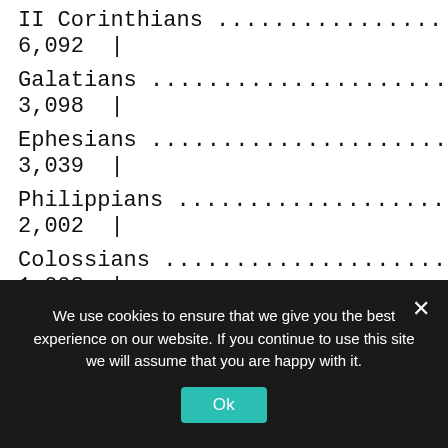| Book | Num | Chapters | Verses | Words |
| --- | --- | --- | --- | --- |
| II Corinthians | 47 | 13 | 257 | 6,092 |
| Galatians | 48 | 6 | 149 | 3,098 |
| Ephesians | 49 | 6 | 155 | 3,039 |
| Philippians | 50 | 4 | 104 | 2,002 |
| Colossians | 51 | 4 | 95 | 1,998 |
| I Thessalonians | 52 | 5 | 89 | ... |
We use cookies to ensure that we give you the best experience on our website. If you continue to use this site we will assume that you are happy with it.